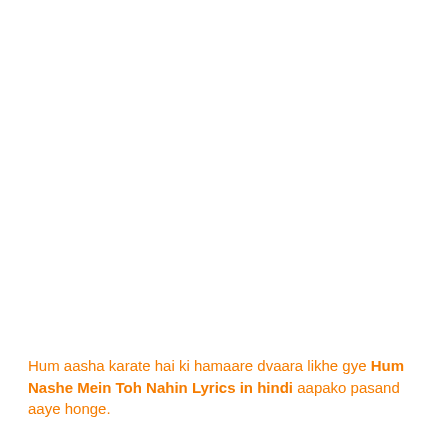Hum aasha karate hai ki hamaare dvaara likhe gye Hum Nashe Mein Toh Nahin Lyrics in hindi aapako pasand aaye honge.